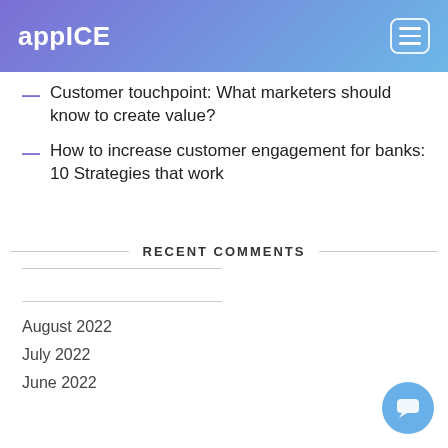appICE
Customer touchpoint: What marketers should know to create value?
How to increase customer engagement for banks: 10 Strategies that work
RECENT COMMENTS
August 2022
July 2022
June 2022
[Figure (screenshot): Chat popup with robot avatar asking: Hey, would you like to skip the form and schedule a meeting with our team right now? With a close (x) button.]